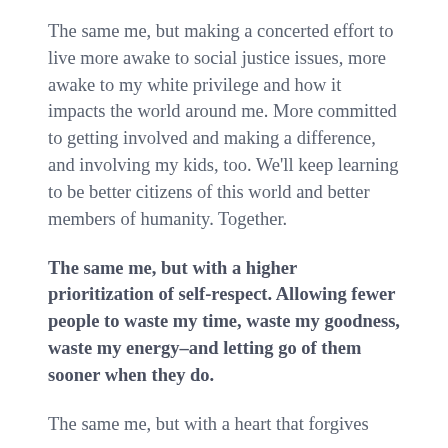The same me, but making a concerted effort to live more awake to social justice issues, more awake to my white privilege and how it impacts the world around me. More committed to getting involved and making a difference, and involving my kids, too. We'll keep learning to be better citizens of this world and better members of humanity. Together.
The same me, but with a higher prioritization of self-respect. Allowing fewer people to waste my time, waste my goodness, waste my energy–and letting go of them sooner when they do.
The same me, but with a heart that forgives